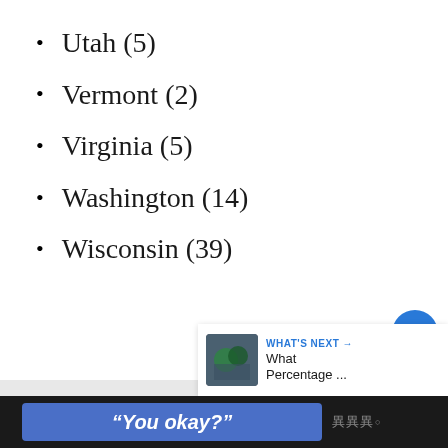Utah (5)
Vermont (2)
Virginia (5)
Washington (14)
Wisconsin (39)
[Figure (screenshot): UI overlay with heart/like button (blue circle, count=1) and share button on right side]
[Figure (screenshot): What's Next card with thumbnail image and text 'What Percentage ...']
[Figure (screenshot): Bottom black bar with blue promo button reading "You okay?" and brand logo]